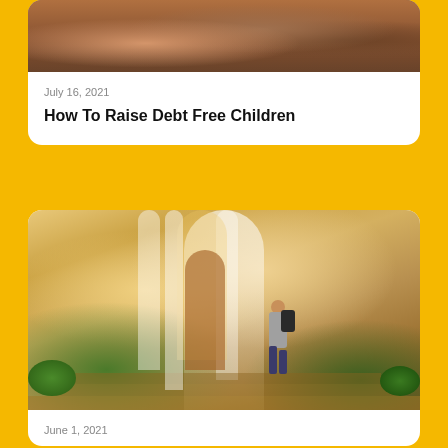[Figure (photo): Photo of people (possibly family or children) used for blog article header, cropped at top]
July 16, 2021
How To Raise Debt Free Children
[Figure (photo): Photo of a student with a backpack walking up stairs toward an arched building entrance, suggesting college or school]
June 1, 2021